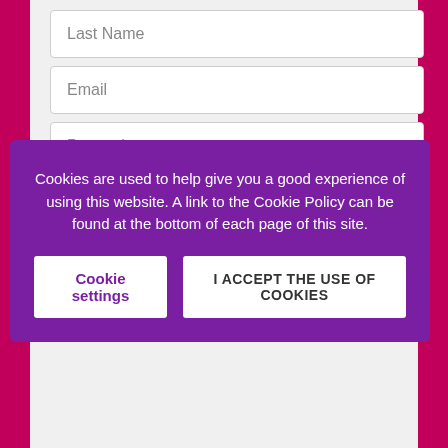Last Name
Email
Postcode
[Figure (screenshot): Cookie consent overlay with purple background. Text reads: 'Cookies are used to help give you a good experience of using this website. A link to the Cookie Policy can be found at the bottom of each page of this site.' Two buttons: 'Cookie settings' and 'I ACCEPT THE USE OF COOKIES'.]
my personal data
CLICK TO SUBSCRIBE
PRIVACY - Michael Lilley values your privacy. A link to Michael's Privacy Notice is at the bottom of this